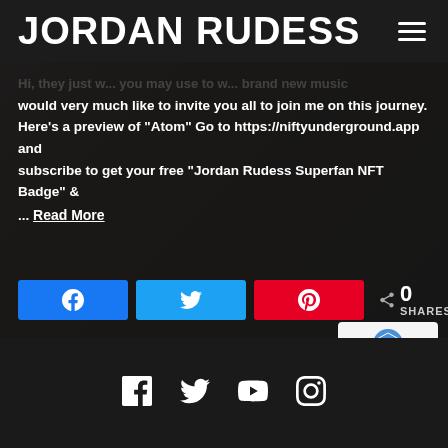JORDAN RUDESS
[Figure (photo): Background photo of Jordan Rudess holding a vinyl record]
would very much like to invite you all to join me on this journey. Here's a preview of "Atom" Go to https://niftyunderground.app and subscribe to get your free "Jordan Rudess Superfan NFT Badge" &
... Read More
[Figure (infographic): Social share buttons: Facebook, Twitter, Pinterest with 0 SHARES count]
[Figure (infographic): reCAPTCHA badge with Privacy - Terms text]
Social media icons: Facebook, Twitter, YouTube, Instagram